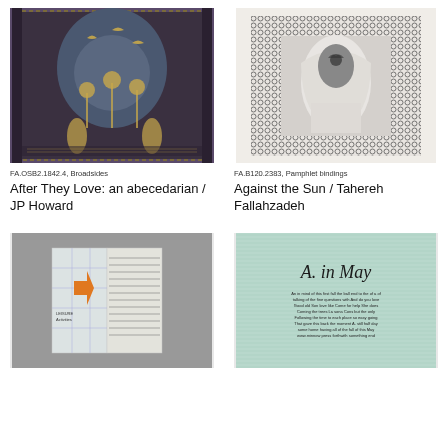[Figure (photo): Dark decorative broadside print with golden birds, dandelions, and two human figures, arched composition on dark background with patterned border]
FA.OSB2.1842.4, Broadsides
After They Love: an abecedarian / JP Howard
[Figure (photo): Book cover or pamphlet with a veiled figure in black and white, surrounded by a decorative patterned border of small repeated motifs]
FA.B120.2383, Pamphlet bindings
Against the Sun / Tahereh Fallahzadeh
[Figure (photo): Translucent/clear artist's book standing open, with an orange arrow and text 'Leisure Activities' visible]
[Figure (photo): Light teal/mint colored page with serif text reading 'A. in May' at top, followed by smaller text body]